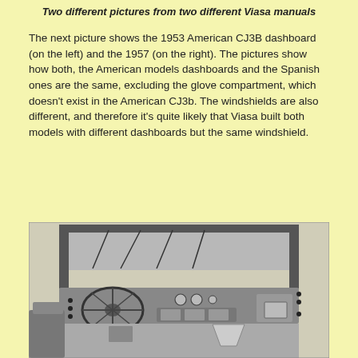Two different pictures from two different Viasa manuals
The next picture shows the 1953 American CJ3B dashboard (on the left) and the 1957 (on the right). The pictures show how both, the American models dashboards and the Spanish ones are the same, excluding the glove compartment, which doesn't exist in the American CJ3b. The windshields are also different, and therefore it's quite likely that Viasa built both models with different dashboards but the same windshield.
[Figure (photo): Black and white photograph of a Jeep CJ3B dashboard interior view, showing the steering wheel, dashboard controls, instruments, and windshield frame from the driver's perspective.]